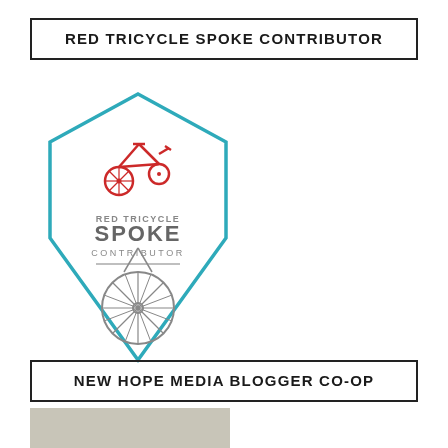RED TRICYCLE SPOKE CONTRIBUTOR
[Figure (logo): Red Tricycle Spoke Contributor badge: teal hexagon outline containing a red tricycle icon above the text 'RED TRICYCLE SPOKE CONTRIBUTOR' in gray, with a gray bicycle wheel illustration below]
NEW HOPE MEDIA BLOGGER CO-OP
[Figure (photo): Partial photo visible at bottom of page]